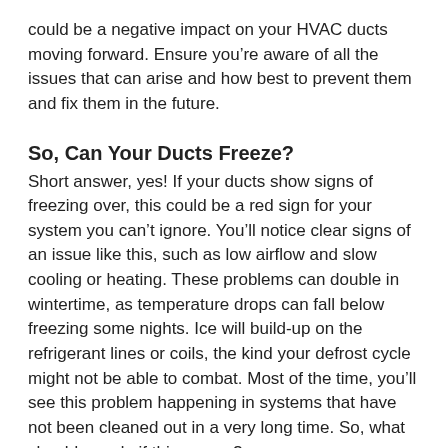could be a negative impact on your HVAC ducts moving forward. Ensure you’re aware of all the issues that can arise and how best to prevent them and fix them in the future.
So, Can Your Ducts Freeze?
Short answer, yes! If your ducts show signs of freezing over, this could be a red sign for your system you can’t ignore. You’ll notice clear signs of an issue like this, such as low airflow and slow cooling or heating. These problems can double in wintertime, as temperature drops can fall below freezing some nights. Ice will build-up on the refrigerant lines or coils, the kind your defrost cycle might not be able to combat. Most of the time, you’ll see this problem happening in systems that have not been cleaned out in a very long time. So, what should you do if this occurs?
Locate The Source, Fix The Issue
If you can find where the issue is starting from, you might figure out what is happening with your system that is preventing it from fighting the ice.